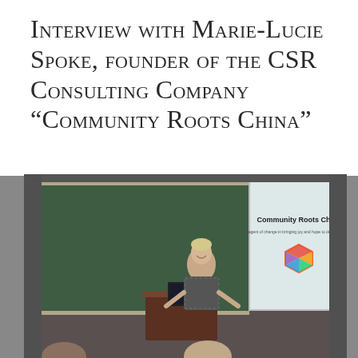Interview with Marie-Lucie Spoke, founder of the CSR Consulting Company “Community Roots China”
[Figure (photo): A woman with short blonde hair in a patterned blazer stands at a lectern in a lecture hall, smiling. Behind her is a green chalkboard and a projected slide reading 'Community Roots China' with a colorful hexagonal logo.]